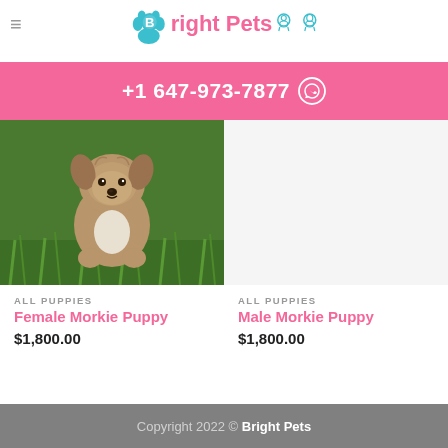Bright Pets
RELATED PRODUCTS
+1 647-973-7877
[Figure (photo): Photo of a fluffy puppy (Female Morkie) sitting on green grass, looking at camera.]
ALL PUPPIES
Female Morkie Puppy
$1,800.00
ALL PUPPIES
Male Morkie Puppy
$1,800.00
Copyright 2022 © Bright Pets